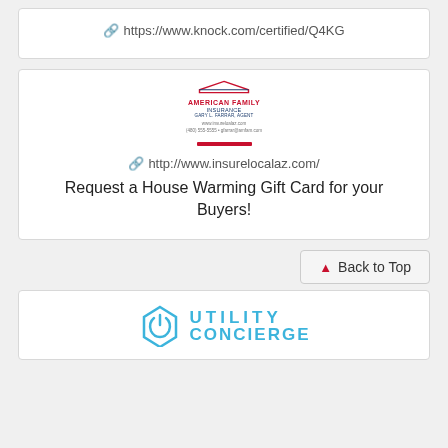https://www.knock.com/certified/Q4KG
[Figure (logo): American Family Insurance logo with roof icon, contact info, and red divider bar]
http://www.insurelocalaz.com/
Request a House Warming Gift Card for your Buyers!
Back to Top
[Figure (logo): Utility Concierge logo with teal house/power icon and teal text reading UTILITY CONCIERGE]